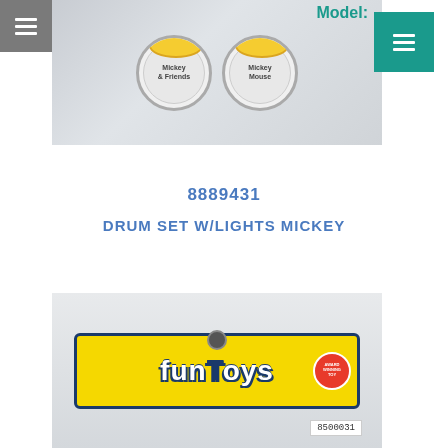[Figure (photo): Two drum toys with Mickey Mouse artwork on white drum heads, packaged in plastic bags, on a light gray surface]
Model:
8889431
DRUM SET W/LIGHTS MICKEY
[Figure (photo): Fun Toys branded product in plastic packaging with yellow banner, showing barcode label 8500031]